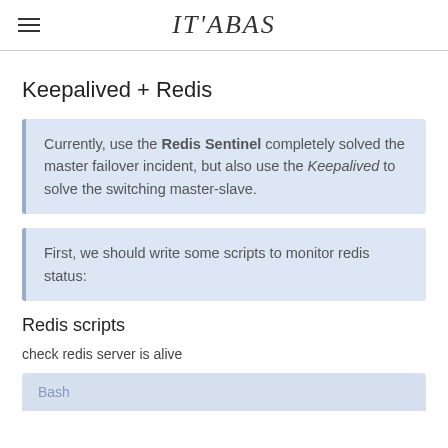IT'ABAS
Keepalived + Redis
Currently, use the Redis Sentinel completely solved the master failover incident, but also use the Keepalived to solve the switching master-slave.
First, we should write some scripts to monitor redis status:
Redis scripts
check redis server is alive
Bash